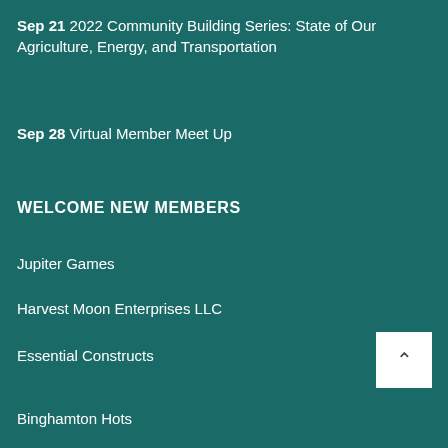Sep 21 2022 Community Building Series: State of Our Agriculture, Energy, and Transportation
Sep 28 Virtual Member Meet Up
WELCOME NEW MEMBERS
Jupiter Games
Harvest Moon Enterprises LLC
Essential Constructs
Binghamton Hots